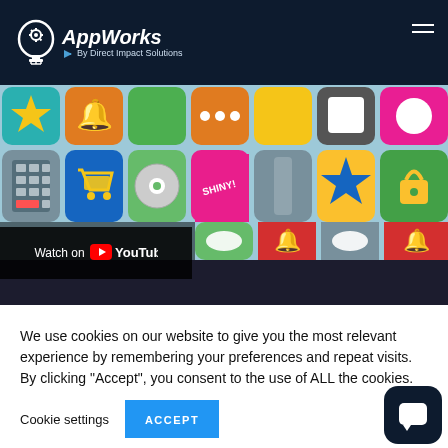AppWorks By Direct Impact Solutions
[Figure (screenshot): YouTube embedded video thumbnail showing colorful app icons grid with Watch on YouTube overlay button]
We use cookies on our website to give you the most relevant experience by remembering your preferences and repeat visits. By clicking “Accept”, you consent to the use of ALL the cookies.
Cookie settings  ACCEPT